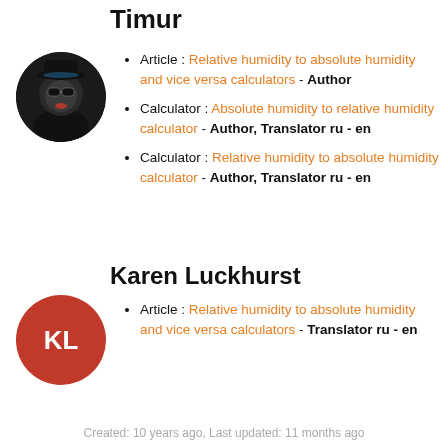Timur
Article : Relative humidity to absolute humidity and vice versa calculators - Author
Calculator : Absolute humidity to relative humidity calculator - Author, Translator ru - en
Calculator : Relative humidity to absolute humidity calculator - Author, Translator ru - en
Karen Luckhurst
Article : Relative humidity to absolute humidity and vice versa calculators - Translator ru - en
Created: 10 years ago, Last updated: 11 months ago